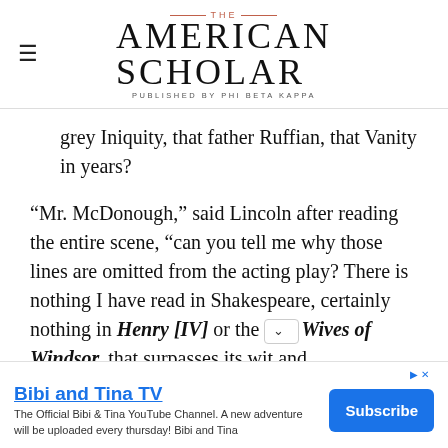THE AMERICAN SCHOLAR — PUBLISHED BY PHI BETA KAPPA
grey Iniquity, that father Ruffian, that Vanity in years?
“Mr. McDonough,” said Lincoln after reading the entire scene, “can you tell me why those lines are omitted from the acting play? There is nothing I have read in Shakespeare, certainly nothing in Henry [IV] or the Wives of Windsor, that surpasses its wit and
[Figure (other): Advertisement banner: Bibi and Tina TV — The Official Bibi & Tina YouTube Channel. A new adventure will be uploaded every thursday! Bibi and Tina. Subscribe button.]